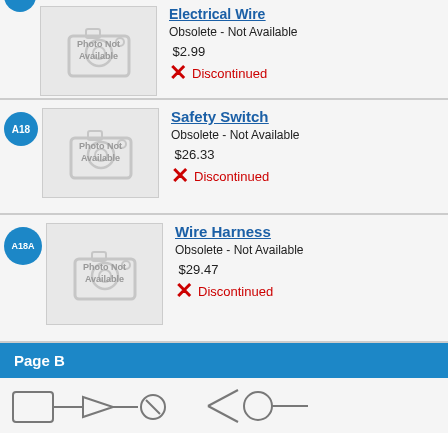[Figure (other): Electrical Wire product listing (partial at top). Part badge partially visible (teal circle). Photo Not Available placeholder image. Shows Obsolete - Not Available, price $2.99, Discontinued status.]
Electrical Wire
Obsolete - Not Available
$2.99
Discontinued
[Figure (other): Safety Switch product listing. Part badge A18 (teal circle). Photo Not Available placeholder image.]
Safety Switch
Obsolete - Not Available
$26.33
Discontinued
[Figure (other): Wire Harness product listing. Part badge A18A (teal circle). Photo Not Available placeholder image.]
Wire Harness
Obsolete - Not Available
$29.47
Discontinued
Page B
[Figure (illustration): Partial view of engineering diagram/illustration at the very bottom of the page.]